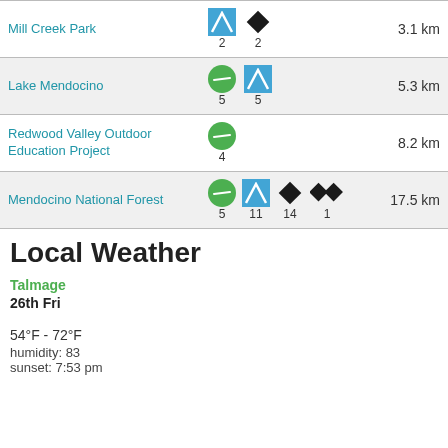| Location | Icons | Distance |
| --- | --- | --- |
| Mill Creek Park | blue-sq:2, black-diamond:2 | 3.1 km |
| Lake Mendocino | green-circle:5, blue-sq:5 | 5.3 km |
| Redwood Valley Outdoor Education Project | green-circle:4 | 8.2 km |
| Mendocino National Forest | green-circle:5, blue-sq:11, black-diamond:14, dbl-diamond:1 | 17.5 km |
Local Weather
Talmage
26th Fri
54°F - 72°F
humidity: 83
sunset: 7:53 pm